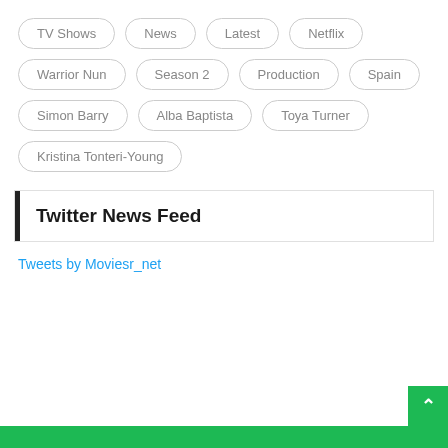TV Shows
News
Latest
Netflix
Warrior Nun
Season 2
Production
Spain
Simon Barry
Alba Baptista
Toya Turner
Kristina Tonteri-Young
Twitter News Feed
Tweets by Moviesr_net